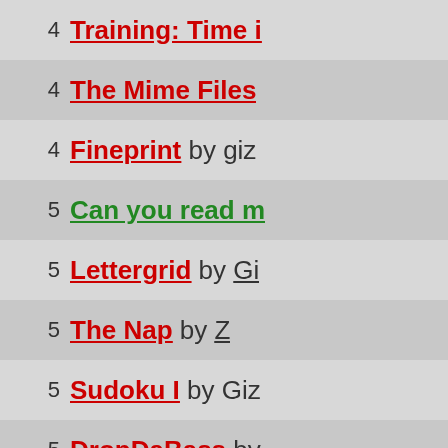4 Training: Time i
4 The Mime Files
4 Fineprint by giz
5 Can you read m
5 Lettergrid by Gi
5 The Nap by Z
5 Sudoku I by Giz
5 DropDaBass by
5 Sidology by Giz
5 Out of the Clou
5 A Black Hats Ta
5 Fix Us by Z and
5 Table Names by